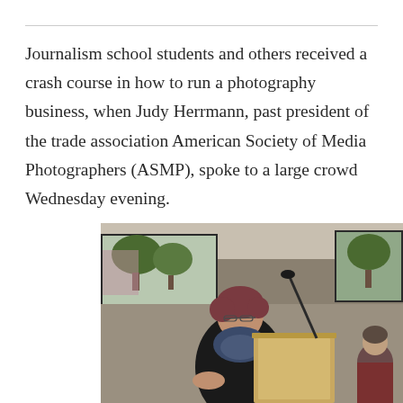Journalism school students and others received a crash course in how to run a photography business, when Judy Herrmann, past president of the trade association American Society of Media Photographers (ASMP), spoke to a large crowd Wednesday evening.
[Figure (photo): A woman with short dark hair and glasses stands at a wooden podium speaking into a microphone, wearing a black blazer over a patterned top. Windows with trees visible outside are in the background. A person is seated in the background to the right.]